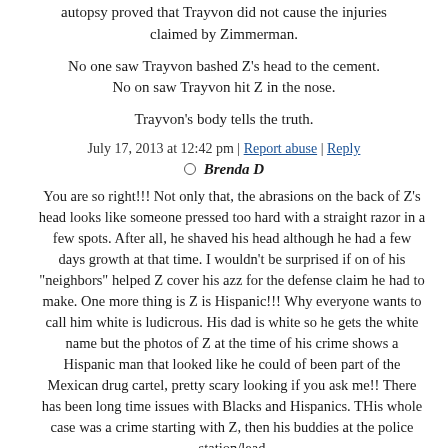autopsy proved that Trayvon did not cause the injuries claimed by Zimmerman.
No one saw Trayvon bashed Z's head to the cement. No on saw Trayvon hit Z in the nose.
Trayvon's body tells the truth.
July 17, 2013 at 12:42 pm | Report abuse | Reply
Brenda D
You are so right!!! Not only that, the abrasions on the back of Z's head looks like someone pressed too hard with a straight razor in a few spots. After all, he shaved his head although he had a few days growth at that time. I wouldn't be surprised if on of his "neighbors" helped Z cover his azz for the defense claim he had to make. One more thing is Z is Hispanic!!! Why everyone wants to call him white is ludicrous. His dad is white so he gets the white name but the photos of Z at the time of his crime shows a Hispanic man that looked like he could of been part of the Mexican drug cartel, pretty scary looking if you ask me!! There has been long time issues with Blacks and Hispanics. THis whole case was a crime starting with Z, then his buddies at the police station/lead